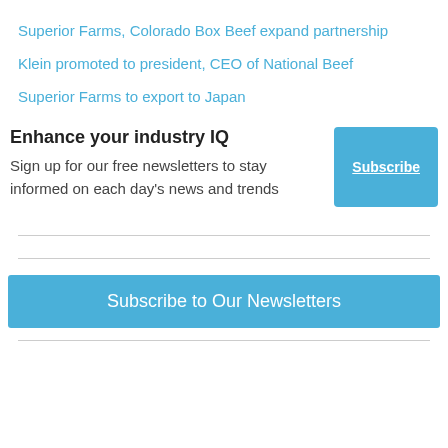Superior Farms, Colorado Box Beef expand partnership
Klein promoted to president, CEO of National Beef
Superior Farms to export to Japan
Enhance your industry IQ
Sign up for our free newsletters to stay informed on each day's news and trends
Subscribe
Subscribe to Our Newsletters